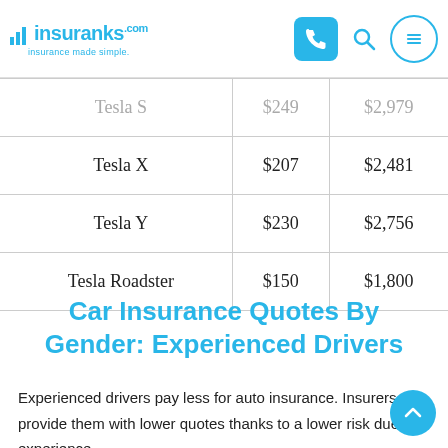insuranks — insurance made simple.
| Model | Monthly | Annual |
| --- | --- | --- |
| Tesla S | $249 | $2,979 |
| Tesla X | $207 | $2,481 |
| Tesla Y | $230 | $2,756 |
| Tesla Roadster | $150 | $1,800 |
Car Insurance Quotes By Gender: Experienced Drivers
Experienced drivers pay less for auto insurance. Insurers provide them with lower quotes thanks to a lower risk due to experience.